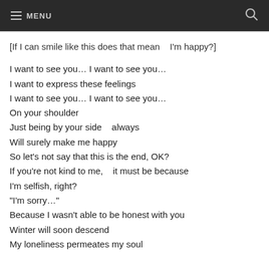MENU
[If I can smile like this does that mean   I'm happy?]
I want to see you… I want to see you…
I want to express these feelings
I want to see you… I want to see you…
On your shoulder
Just being by your side    always
Will surely make me happy
So let's not say that this is the end, OK?
If you're not kind to me,    it must be because
I'm selfish, right?
"I'm sorry…"
Because I wasn't able to be honest with you
Winter will soon descend
My loneliness permeates my soul